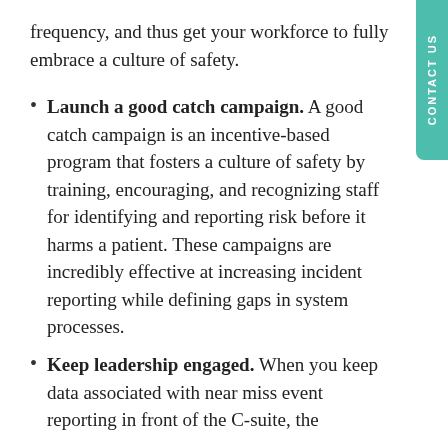frequency, and thus get your workforce to fully embrace a culture of safety.
Launch a good catch campaign. A good catch campaign is an incentive-based program that fosters a culture of safety by training, encouraging, and recognizing staff for identifying and reporting risk before it harms a patient. These campaigns are incredibly effective at increasing incident reporting while defining gaps in system processes.
Keep leadership engaged. When you keep data associated with near miss event reporting in front of the C-suite, the